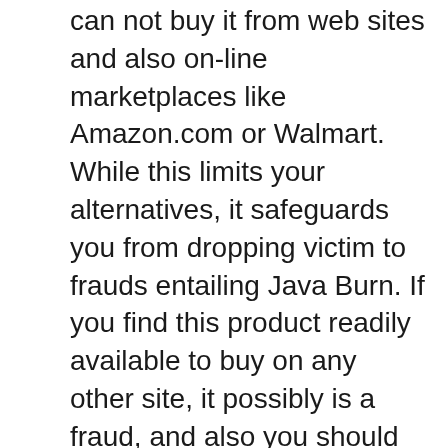can not buy it from web sites and also on-line marketplaces like Amazon.com or Walmart. While this limits your alternatives, it safeguards you from dropping victim to frauds entailing Java Burn. If you find this product readily available to buy on any other site, it possibly is a fraud, and also you should range from it.
Considering that you can just buy from the producer's internet site, you can conserve a lot of cash by eliminating brokers, middlemans, and also go-betweens. You can likewise be sure of obtaining the actual deal when purchasing Java Burn right from the maker. It is available in 3 distinctive packages– the 30, 90, and 180-day supply. Right here is a malfunction of the rates:.